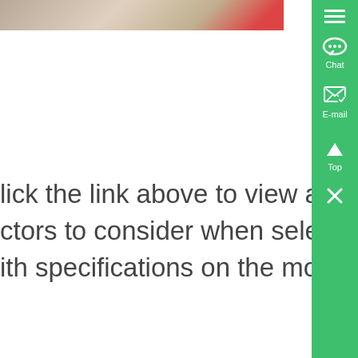[Figure (photo): Industrial/warehouse photo with red equipment visible at top left]
Union Process is the source the most up-to-date informa grinding balls and other me
lick the link above to view a detailed sheet, outlining ctors to consider when selecting grinding media, al ith specifications on the most common types of me
[Figure (photo): Industrial silos/tanks photo]
Grinding Media manufacturers, Chi Grinding Media ,
Find Grinding Media manufacturers and suppliers China Source high quality rinding Media supplied by verified and experienced anufacturers Contact reliable exporters of Grinding